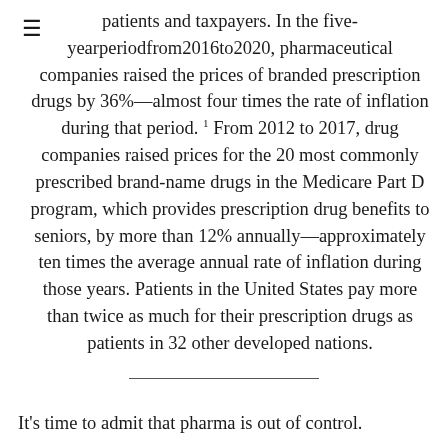patients and taxpayers. In the five-yearperiodfrom2016to2020, pharmaceutical companies raised the prices of branded prescription drugs by 36%—almost four times the rate of inflation during that period. 1 From 2012 to 2017, drug companies raised prices for the 20 most commonly prescribed brand-name drugs in the Medicare Part D program, which provides prescription drug benefits to seniors, by more than 12% annually—approximately ten times the average annual rate of inflation during those years. Patients in the United States pay more than twice as much for their prescription drugs as patients in 32 other developed nations.
It's time to admit that pharma is out of control.